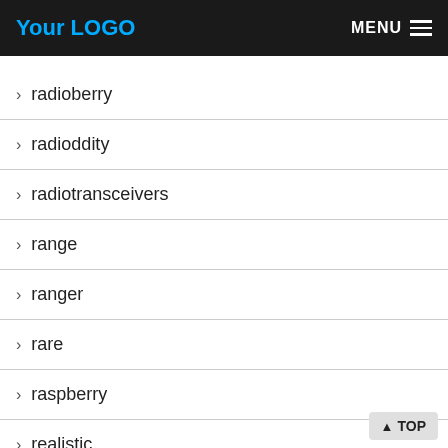Your LOGO  MENU
> radioberry
> radioddity
> radiotransceivers
> range
> ranger
> rare
> raspberry
> realistic
> realisticradio
> receive
> recent